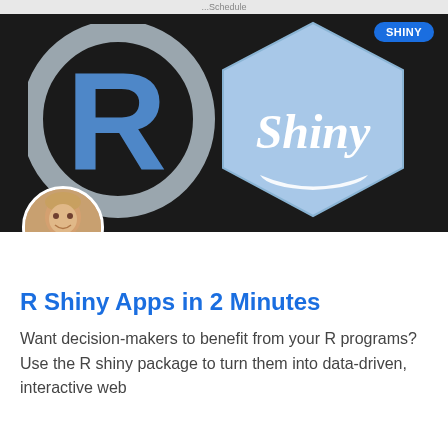...Schedule
[Figure (photo): Dark background hero image showing the R programming language logo (blue R inside a grey circle) on the left, and the Shiny hexagon logo (light blue hexagon with 'Shiny' text in white cursive) on the right. A 'SHINY' pill badge in blue is in the top-right corner. A circular author headshot photo is overlaid at the bottom-left.]
R Shiny Apps in 2 Minutes
Want decision-makers to benefit from your R programs? Use the R shiny package to turn them into data-driven, interactive web